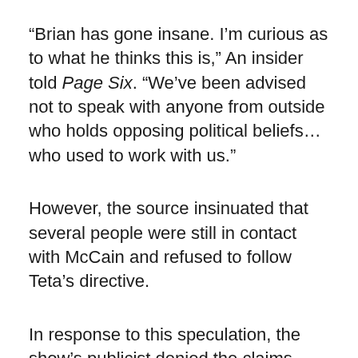“Brian has gone insane. I’m curious as to what he thinks this is,” An insider told Page Six. “We’ve been advised not to speak with anyone from outside who holds opposing political beliefs… who used to work with us.”
However, the source insinuated that several people were still in contact with McCain and refused to follow Teta’s directive.
In response to this speculation, the show’s publicist denied the claims, stating that none of them are real. “This isn’t correct. Nobody has been forbidden from speaking with McCain. Our attention is on the exciting season ahead, and we